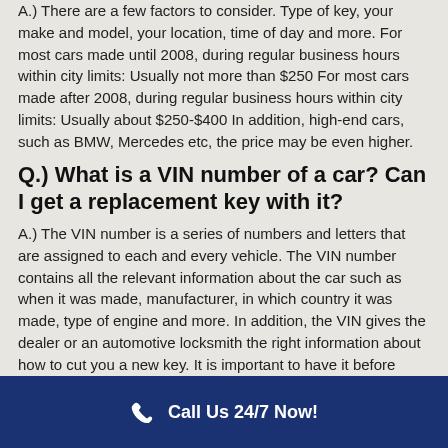A.) There are a few factors to consider. Type of key, your make and model, your location, time of day and more. For most cars made until 2008, during regular business hours within city limits: Usually not more than $250 For most cars made after 2008, during regular business hours within city limits: Usually about $250-$400 In addition, high-end cars, such as BMW, Mercedes etc, the price may be even higher.
Q.) What is a VIN number of a car? Can I get a replacement key with it?
A.) The VIN number is a series of numbers and letters that are assigned to each and every vehicle. The VIN number contains all the relevant information about the car such as when it was made, manufacturer, in which country it was made, type of engine and more. In addition, the VIN gives the dealer or an automotive locksmith the right information about how to cut you a new key. It is important to have it before calling a locksmith. For more
Call Us 24/7 Now!